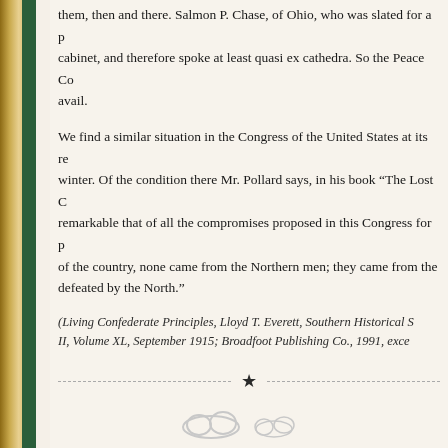them, then and there. Salmon P. Chase, of Ohio, who was slated for a place in the cabinet, and therefore spoke at least quasi ex cathedra. So the Peace Co... avail.
We find a similar situation in the Congress of the United States at its re... winter. Of the condition there Mr. Pollard says, in his book “The Lost C... remarkable that of all the compromises proposed in this Congress for p... of the country, none came from the Northern men; they came from the... defeated by the North.”
(Living Confederate Principles, Lloyd T. Everett, Southern Historical S... II, Volume XL, September 1915; Broadfoot Publishing Co., 1991, exce...
Aug 19, 2018 - Uncategorized Comments Off
Cotton Profiteering on the Red R...